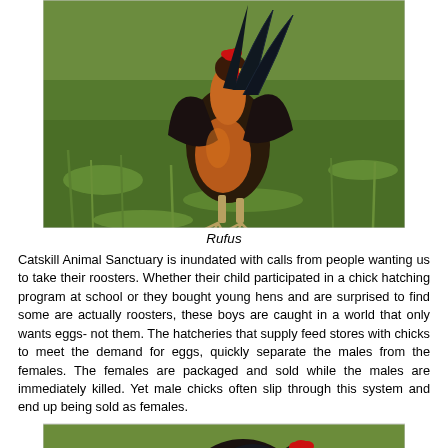[Figure (photo): A rooster with orange, black and dark feathers standing on green grass, facing the camera. Red comb visible on head.]
Rufus
Catskill Animal Sanctuary is inundated with calls from people wanting us to take their roosters. Whether their child participated in a chick hatching program at school or they bought young hens and are surprised to find some are actually roosters, these boys are caught in a world that only wants eggs- not them. The hatcheries that supply feed stores with chicks to meet the demand for eggs, quickly separate the males from the females. The females are packaged and sold while the males are immediately killed. Yet male chicks often slip through this system and end up being sold as females.
[Figure (photo): A dark-feathered rooster with a red comb on green grass, partially visible, head turned to the right.]